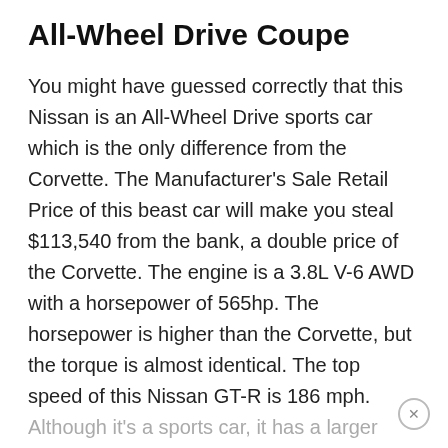All-Wheel Drive Coupe
You might have guessed correctly that this Nissan is an All-Wheel Drive sports car which is the only difference from the Corvette. The Manufacturer's Sale Retail Price of this beast car will make you steal $113,540 from the bank, a double price of the Corvette. The engine is a 3.8L V-6 AWD with a horsepower of 565hp. The horsepower is higher than the Corvette, but the torque is almost identical. The top speed of this Nissan GT-R is 186 mph.
Although it's a sports car, it has a larger